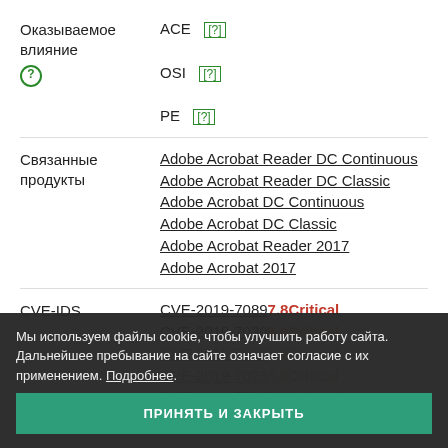Оказываемое влияние | ACE [?] | OSI [?] | PE [?]
Связанные продукты | Adobe Acrobat Reader DC Continuous | Adobe Acrobat Reader DC Classic | Adobe Acrobat DC Continuous | Adobe Acrobat DC Classic | Adobe Acrobat Reader 2017 | Adobe Acrobat 2017
CVE-IDS | CVE-2019-7089 7.8 Critical | CVE-2019-7030 5.0 Critical | CVE-2019-7022 5.0 Critical | CVE-2019-7023 5.0 Critical | CVE-2019-7024 5.0 Critical
Мы используем файлы cookie, чтобы улучшить работу сайта. Дальнейшее пребывание на сайте означает согласие с их применением. Подробнее.
ПРИНЯТЬ И ЗАКРЫТЬ